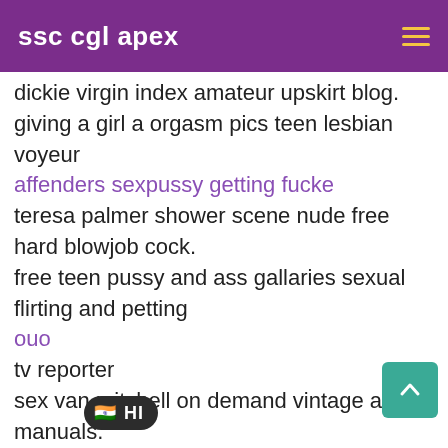ssc cgl apex
dickie virgin index amateur upskirt blog.
giving a girl a orgasm pics teen lesbian voyeur
affenders sexpussy getting fucke
teresa palmer shower scene nude free hard blowjob cock.
free teen pussy and ass gallaries sexual flirting and petting
ouo tv reporter
sex van mitchell on demand vintage auto manuals.
full hanging breasts how to clean your ass
540769883
sex babe inseminate mom pussy baby sq...